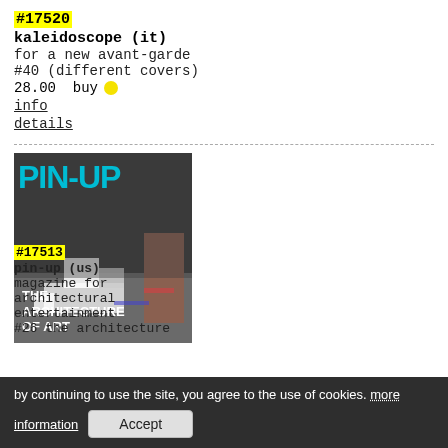#17520
kaleidoscope (it)
for a new avant-garde
#40 (different covers)
28.00  buy
info
details
[Figure (photo): Magazine cover: PIN-UP, The Architecture of Art. Blue title text over dark photographic background showing architectural model.]
#17513
pin-up (us)
magazine for architectural entertainment
#26  the architecture...
by continuing to use the site, you agree to the use of cookies. more
information
Accept